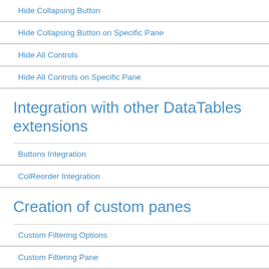Hide Collapsing Button
Hide Collapsing Button on Specific Pane
Hide All Controls
Hide All Controls on Specific Pane
Integration with other DataTables extensions
Buttons Integration
ColReorder Integration
Creation of custom panes
Custom Filtering Options
Custom Filtering Pane
Custom Filtering Pane with PreSelections
Only Custom Panes
Styling